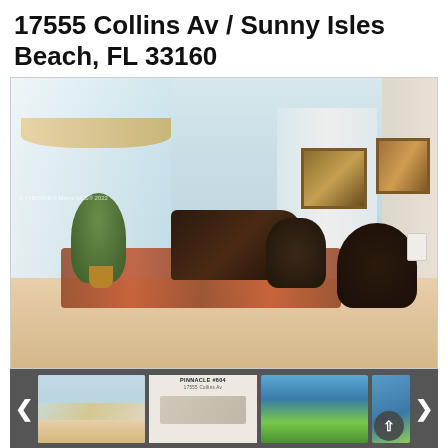17555 Collins Av / Sunny Isles Beach, FL 33160
[Figure (photo): Interior photo of a luxury condominium living room with grand piano, upholstered chairs, oriental rug, and floor-to-ceiling windows with ocean view and gold valance curtains. A hallway with artwork is visible to the right.]
[Figure (photo): Thumbnail navigation bar with left/right arrows and four thumbnail images of the property: living room interior, PINNACLE #604 unit listing page, ocean/beach aerial view, and partial fourth thumbnail.]